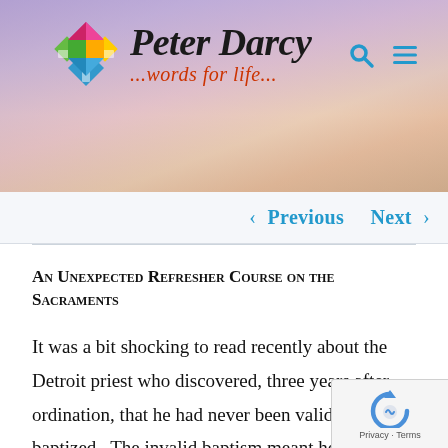[Figure (logo): Peter Darcy website header banner with colorful diamond/cross logo, site name 'Peter Darcy' in italic serif font, tagline '...words for life...' in red italic, search and menu icons on right, purple-pink-orange sunset sky background]
< Previous   Next >
An Unexpected Refresher Course on the Sacraments
It was a bit shocking to read recently about the Detroit priest who discovered, three years after ordination, that he had never been validly baptized.  The invalid baptism meant he was not a priest. As Fr. Matthew Hood was reviewing a video of his own baptism 30 years